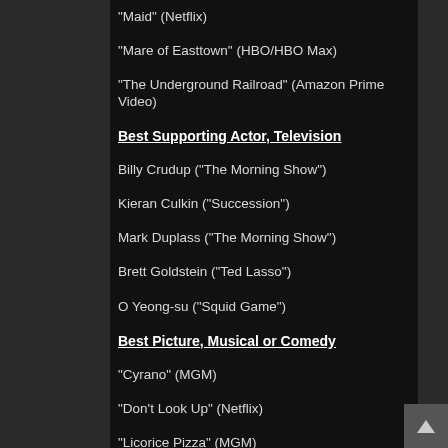“Maid” (Netflix)
“Mare of Easttown” (HBO/HBO Max)
“The Underground Railroad” (Amazon Prime Video)
Best Supporting Actor, Television
Billy Crudup (“The Morning Show”)
Kieran Culkin (“Succession”)
Mark Duplass (“The Morning Show”)
Brett Goldstein (“Ted Lasso”)
O Yeong-su (“Squid Game”)
Best Picture, Musical or Comedy
“Cyrano” (MGM)
“Don’t Look Up” (Netflix)
“Licorice Pizza” (MGM)
“Tick, Tick … Boom!” (Netflix)